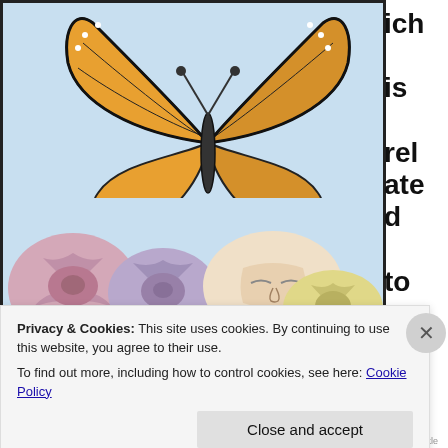[Figure (illustration): Illustration of a monarch butterfly with orange and black patterned wings perched atop several roses (pink, purple, white/cream, yellow) against a blue sky background. A human face with eyes closed is visible resting among the roses.]
ich is related to our distin
Privacy & Cookies: This site uses cookies. By continuing to use this website, you agree to their use.
To find out more, including how to control cookies, see here: Cookie Policy
Close and accept